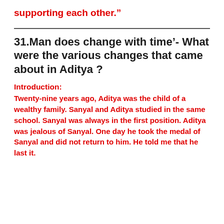supporting each other.”
31.Man does change with time’- What were the various changes that came about in Aditya ?
Introduction:
Twenty-nine years ago, Aditya was the child of a wealthy family. Sanyal and Aditya studied in the same school. Sanyal was always in the first position. Aditya was jealous of Sanyal. One day he took the medal of Sanyal and did not return to him. He told me that he last it.